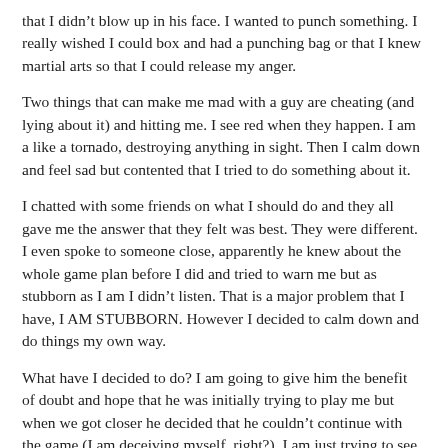that I didn’t blow up in his face. I wanted to punch something. I really wished I could box and had a punching bag or that I knew martial arts so that I could release my anger.
Two things that can make me mad with a guy are cheating (and lying about it) and hitting me. I see red when they happen. I am a like a tornado, destroying anything in sight. Then I calm down and feel sad but contented that I tried to do something about it.
I chatted with some friends on what I should do and they all gave me the answer that they felt was best. They were different. I even spoke to someone close, apparently he knew about the whole game plan before I did and tried to warn me but as stubborn as I am I didn’t listen. That is a major problem that I have, I AM STUBBORN. However I decided to calm down and do things my own way.
What have I decided to do? I am going to give him the benefit of doubt and hope that he was initially trying to play me but when we got closer he decided that he couldn’t continue with the game (I am deceiving myself, right?). I am just trying to see the good part in him.